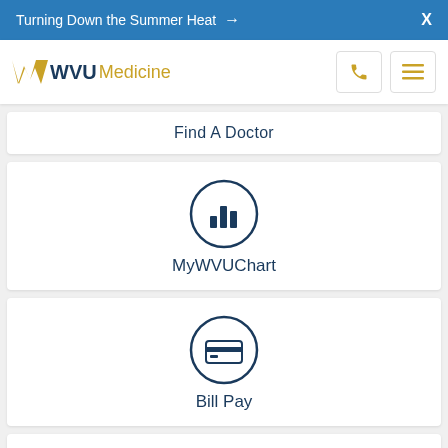Turning Down the Summer Heat → X
[Figure (logo): WVU Medicine logo with flying WV in gold and WVU Medicine text]
Find A Doctor
[Figure (infographic): MyWVUChart icon - circle with bar chart icon inside]
MyWVUChart
[Figure (infographic): Bill Pay icon - circle with credit card icon inside]
Bill Pay
Related Services
NORTH CENTER W. VA